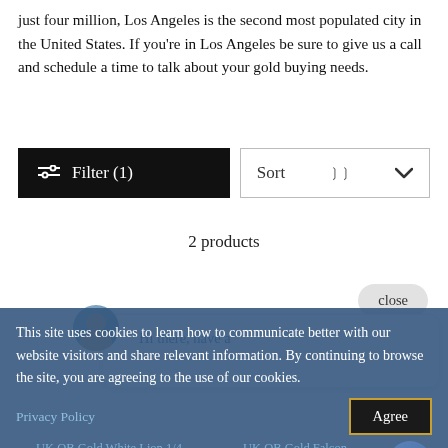just four million, Los Angeles is the second most populated city in the United States. If you're in Los Angeles be sure to give us a call and schedule a time to talk about your gold buying needs.
[Figure (screenshot): Filter button (black background, white text 'Filter (1)' with filter icon) and Sort dropdown (white background with chevron) side by side]
2 products
[Figure (screenshot): Close button (rounded grey pill) and chat popup with avatar and teal 'Hi there, have a' text]
[Figure (screenshot): Cookie consent banner with blue background saying 'This site uses cookies to learn how to communicate better with our website visitors and share relevant information. By continuing to browse the site, you are agreeing to the use of our cookies.' with Privacy Policy link and Agree button]
UK QB Gold White Lion 1/4 oz 2020
UK QB Gold Falcon 2019